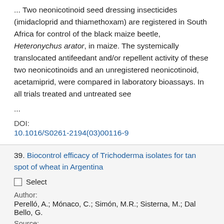... Two neonicotinoid seed dressing insecticides (imidacloprid and thiamethoxam) are registered in South Africa for control of the black maize beetle, Heteronychus arator, in maize. The systemically translocated antifeedant and/or repellent activity of these two neonicotinoids and an unregistered neonicotinoid, acetamiprid, were compared in laboratory bioassays. In all trials treated and untreated see ...
DOI:
10.1016/S0261-2194(03)00116-9
39. Biocontrol efficacy of Trichoderma isolates for tan spot of wheat in Argentina
Select
Author:
Perelló, A.; Mónaco, C.; Simón, M.R.; Sisterna, M.; Dal Bello, G.
Source:
Crop protection 2003 v.22 no.9 pp. 1099-1106